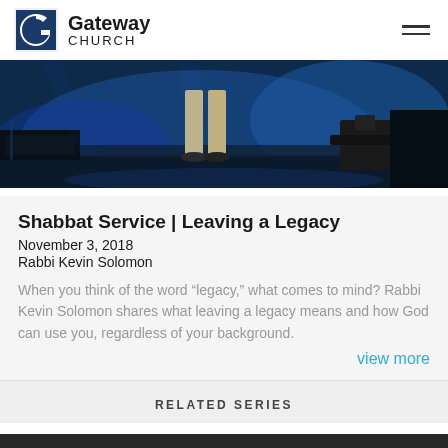Gateway Church
[Figure (photo): A person standing on a dark stage with blue dramatic lighting, with camera equipment visible. Lower body and feet visible on a performance stage.]
Shabbat Service | Leaving a Legacy
November 3, 2018
Rabbi Kevin Solomon
When you think of the word “legacy,” what comes to mind? Rabbi Kevin Solomon shares what leaving a legacy means and how God can use you, regardless of your background.
view more
RELATED SERIES